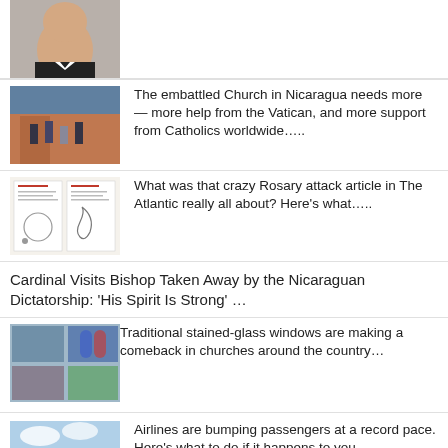[Figure (photo): Partial photo of a person, appears to be a priest or clergy member, cropped at top]
[Figure (photo): Photo of people outside a building, Nicaragua church scene]
The embattled Church in Nicaragua needs more — more help from the Vatican, and more support from Catholics worldwide…..
[Figure (photo): Article screenshots showing rosary and The Atlantic article]
What was that crazy Rosary attack article in The Atlantic really all about? Here's what…..
Cardinal Visits Bishop Taken Away by the Nicaraguan Dictatorship: 'His Spirit Is Strong' …
[Figure (photo): Collage of stained glass windows in churches]
Traditional stained-glass windows are making a comeback in churches around the country…
[Figure (photo): Illustration of airplane tickets and travel theme]
Airlines are bumping passengers at a record pace. Here's what to do if it happens to you